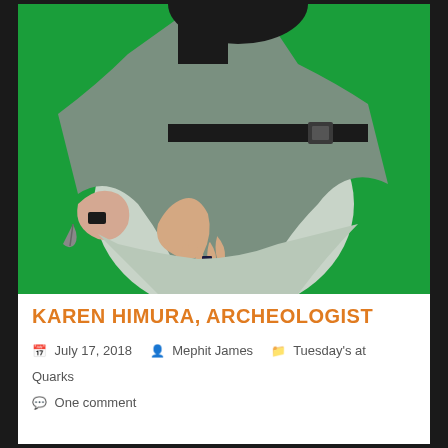[Figure (photo): A person bent forward wearing a light grey sweater and dark pants with a black belt. Their hand with a dark ring rests on their knee. The background is bright green.]
KAREN HIMURA, ARCHEOLOGIST
July 17, 2018  Mephit James  Tuesday's at Quarks  One comment